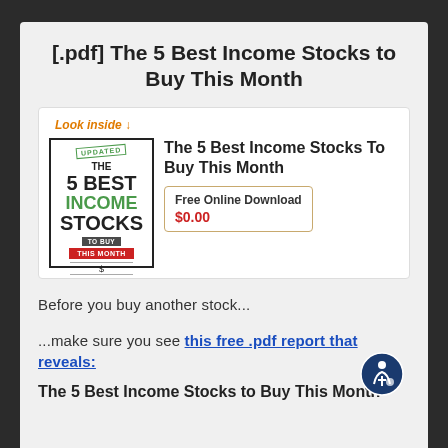[.pdf] The 5 Best Income Stocks to Buy This Month
[Figure (illustration): Book cover for 'The 5 Best Income Stocks To Buy This Month' with 'Look inside' link and price box showing Free Online Download $0.00]
Before you buy another stock...
...make sure you see this free .pdf report that reveals:
The 5 Best Income Stocks to Buy This Month